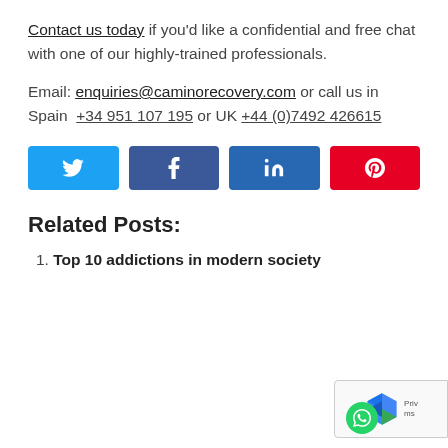Contact us today if you'd like a confidential and free chat with one of our highly-trained professionals.
Email: enquiries@caminorecovery.com or call us in Spain +34 951 107 195 or UK +44 (0)7492 426615
[Figure (infographic): Four social share buttons: Twitter (light blue), Facebook (dark blue), LinkedIn (medium blue), Pinterest (red), each with white icon]
Related Posts:
1. Top 10 addictions in modern society